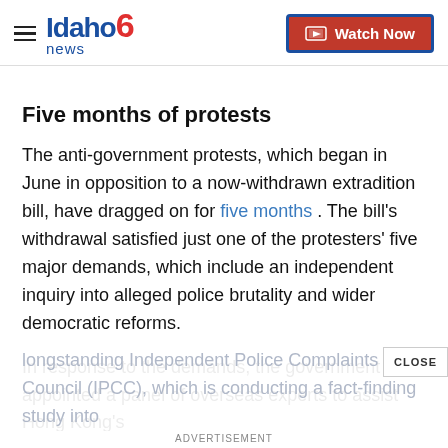Idaho News 6 | Watch Now
Five months of protests
The anti-government protests, which began in June in opposition to a now-withdrawn extradition bill, have dragged on for five months . The bill's withdrawal satisfied just one of the protesters' five major demands, which include an independent inquiry into alleged police brutality and wider democratic reforms.
In response to the demands, the government appointed a panel of overseas experts to assist Hong Kong's longstanding Independent Police Complaints Council (IPCC), which is conducting a fact-finding study into...